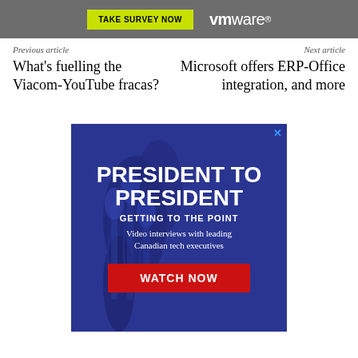[Figure (screenshot): Website header bar with gray background containing a 'TAKE SURVEY NOW' button in yellow-green and VMware logo in white]
Previous article
Next article
What's fuelling the Viacom-YouTube fracas?
Microsoft offers ERP-Office integration, and more
[Figure (infographic): Blue advertisement banner for 'President to President: Getting to the Point' — video interviews with leading Canadian tech executives. Has a red 'WATCH NOW' button. Background shows microphone imagery.]